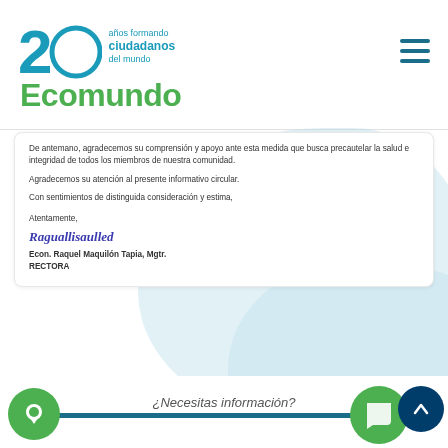[Figure (logo): Ecomundo school logo with '20 años formando ciudadanos del mundo' and green Ecomundo wordmark]
De antemano, agradecemos su comprensión y apoyo ante esta medida que busca precautelar la salud e integridad de todos los miembros de nuestra comunidad.
Agradecemos su atención al presente informativo circular.
Con sentimientos de distinguida consideración y estima,
Atentamente,
[Figure (illustration): Handwritten signature in blue ink]
Econ. Raquel Maquilón Tapia, Mgtr.
RECTORA
¿Necesitas información?